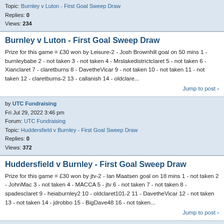Topic: Burnley v Luton - First Goal Sweep Draw
Replies: 0
Views: 234
Burnley v Luton - First Goal Sweep Draw
Prize for this game = £30 won by Leisure-2 - Josh Brownhill goal on 50 mins 1 - burnleybabe 2 - not taken 3 - not taken 4 - Mrslakedistrictclaret 5 - not taken 6 - Xianclaret 7 - claretburns 8 - DavetheVicar 9 - not taken 10 - not taken 11 - not taken 12 - claretburns-2 13 - callanish 14 - oldclare...
Jump to post
by UTC Fundraising
Fri Jul 29, 2022 3:46 pm
Forum: UTC Fundraising
Topic: Huddersfield v Burnley - First Goal Sweep Draw
Replies: 0
Views: 372
Huddersfield v Burnley - First Goal Sweep Draw
Prize for this game = £30 won by jtv-2 - Ian Maatsen goal on 18 mins 1 - not taken 2 - JohnMac 3 - not taken 4 - MACCA 5 - jtv 6 - not taken 7 - not taken 8 - spadesclaret 9 - heiaburnley2 10 - oldclaret101-2 11 - DavetheVicar 12 - not taken 13 - not taken 14 - jdrobbo 15 - BigDave48 16 - not taken...
Jump to post
by UTC Fundraising
Mon Jul 25, 2022 9:38 am
Forum: The Bee Hole End
Topic: UTC First Goal Sweep 2022/23